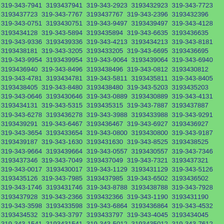319-343-7941 3193437941 319-343-2923 3193432923 319-343-7723 3193437723 319-343-7767 3193437767 319-343-2396 3193432396 319-343-0751 3193430751 319-343-9497 3193439497 319-343-4128 3193434128 319-343-5894 3193435894 319-343-6635 3193436635 319-343-9336 3193439336 319-343-4213 3193434213 319-343-8181 3193438181 319-343-3205 3193433205 319-343-6695 3193436695 319-343-9954 3193439954 319-343-9064 3193439064 319-343-6940 3193436940 319-343-8496 3193438496 319-343-0812 3193430812 319-343-4781 3193434781 319-343-5811 3193435811 319-343-8405 3193438405 319-343-8480 3193438480 319-343-5203 3193435203 319-343-0646 3193430646 319-343-0889 3193430889 319-343-4131 3193434131 319-343-5315 3193435315 319-343-7887 3193437887 319-343-6278 3193436278 319-343-3988 3193433988 319-343-9291 3193439291 319-343-6467 3193436467 319-343-6927 3193436927 319-343-3654 3193433654 319-343-0800 3193430800 319-343-9187 3193439187 319-343-1630 3193431630 319-343-8525 3193438525 319-343-9664 3193439664 319-343-0557 3193430557 319-343-7346 3193437346 319-343-7049 3193437049 319-343-7321 3193437321 319-343-0017 3193430017 319-343-1129 3193431129 319-343-5126 3193435126 319-343-7985 3193437985 319-343-6502 3193436502 319-343-1746 3193431746 319-343-8788 3193438788 319-343-7928 3193437928 319-343-2366 3193432366 319-343-1190 3193431190 319-343-3598 3193433598 319-343-6864 3193436864 319-343-4532 3193434532 319-343-3797 3193433797 319-343-4045 3193434045 319-343-1541 3193431541 319-343-5012 3193435012 319-343-7612 3193437612 319-343-7640 3193437640